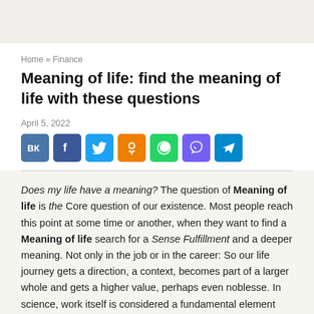Home » Finance
Meaning of life: find the meaning of life with these questions
April 5, 2022
[Figure (infographic): Row of social media share buttons: VK, Facebook, Twitter, Odnoklassniki, WhatsApp, Viber, Telegram]
Does my life have a meaning? The question of Meaning of life is the Core question of our existence. Most people reach this point at some time or another, when they want to find a Meaning of life search for a Sense Fulfillment and a deeper meaning. Not only in the job or in the career: So our life journey gets a direction, a context, becomes part of a larger whole and gets a higher value, perhaps even noblesse. In science, work itself is considered a fundamental element that can provide a meaning to life. The point of this article is